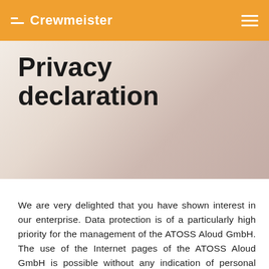Crewmeister
Privacy declaration
We are very delighted that you have shown interest in our enterprise. Data protection is of a particularly high priority for the management of the ATOSS Aloud GmbH. The use of the Internet pages of the ATOSS Aloud GmbH is possible without any indication of personal data; however, if a data subject wants to use special enterprise services via our website, processing of personal data could become necessary. If the processing of personal data is necessary and there is no statutory basis for such processing, we generally obtain consent from